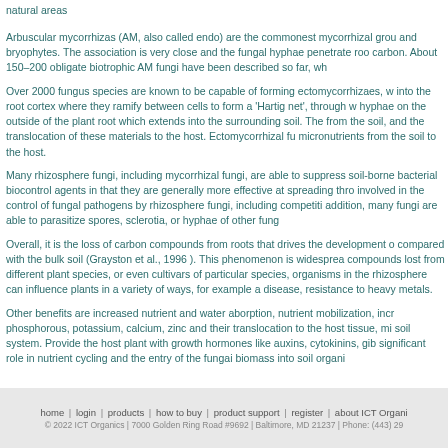natural areas
Arbuscular mycorrhizas (AM, also called endo) are the commonest mycorrhizal grou and bryophytes. The association is very close and the fungal hyphae penetrate roo carbon. About 150–200 obligate biotrophic AM fungi have been described so far, wh
Over 2000 fungus species are known to be capable of forming ectomycorrhizaes, w into the root cortex where they ramify between cells to form a 'Hartig net', through w hyphae on the outside of the plant root which extends into the surrounding soil. The from the soil, and the translocation of these materials to the host. Ectomycorrhizal fu micronutrients from the soil to the host.
Many rhizosphere fungi, including mycorrhizal fungi, are able to suppress soil-borne bacterial biocontrol agents in that they are generally more effective at spreading thro involved in the control of fungal pathogens by rhizosphere fungi, including competiti addition, many fungi are able to parasitize spores, sclerotia, or hyphae of other fung
Overall, it is the loss of carbon compounds from roots that drives the development o compared with the bulk soil (Grayston et al., 1996 ). This phenomenon is widesprea compounds lost from different plant species, or even cultivars of particular species, organisms in the rhizosphere can influence plants in a variety of ways, for example a disease, resistance to heavy metals.
Other benefits are increased nutrient and water aborption, nutrient mobilization, incr phosphorous, potassium, calcium, zinc and their translocation to the host tissue, mi soil system. Provide the host plant with growth hormones like auxins, cytokinins, gib significant role in nutrient cycling and the entry of the fungai biomass into soil organi
home  |  login  |  products  |  how to buy  |  product support  |  register  |  about ICT Organi © 2022 ICT Organics | 7000 Golden Ring Road #9692 | Baltimore, MD 21237 | Phone: (443) 29